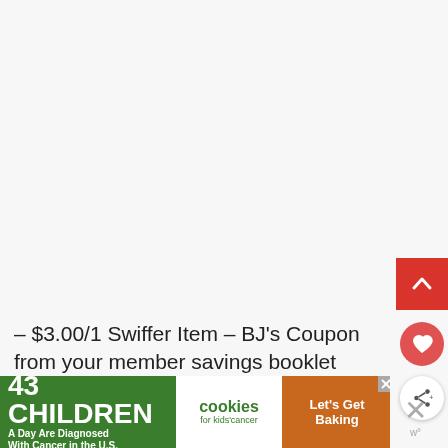– $3.00/1 Swiffer Item – BJ's Coupon from your member savings booklet (exp. 11/08/17)
Final Price: $9.99
[Figure (infographic): Red square back-to-top button with upward chevron arrow, top right area]
[Figure (infographic): Red circular heart/favorite button on right side]
[Figure (infographic): White circular share button on right side]
[Figure (infographic): Advertisement banner: '43 CHILDREN A Day Are Diagnosed With Cancer in the U.S.' cookies for kids cancer 'Let's Get Baking']